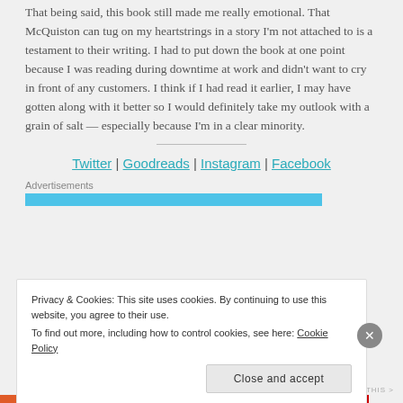That being said, this book still made me really emotional. That McQuiston can tug on my heartstrings in a story I'm not attached to is a testament to their writing. I had to put down the book at one point because I was reading during downtime at work and didn't want to cry in front of any customers. I think if I had read it earlier, I may have gotten along with it better so I would definitely take my outlook with a grain of salt — especially because I'm in a clear minority.
Twitter | Goodreads | Instagram | Facebook
Advertisements
Privacy & Cookies: This site uses cookies. By continuing to use this website, you agree to their use. To find out more, including how to control cookies, see here: Cookie Policy
Close and accept